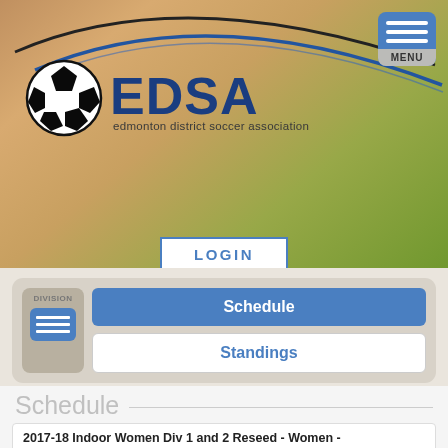[Figure (screenshot): EDSA Edmonton District Soccer Association logo with soccer ball icon and curved swoosh design]
MENU
LOGIN
DIVISION
Schedule
Standings
Schedule
2017-18 Indoor Women Div 1 and 2 Reseed - Women - Division 2 Group C (Relegation)
Tuesday, January 23, 2018 08:30 PM
Celtic United
Home
5
Phoenix FC
Visitor
1
East 8